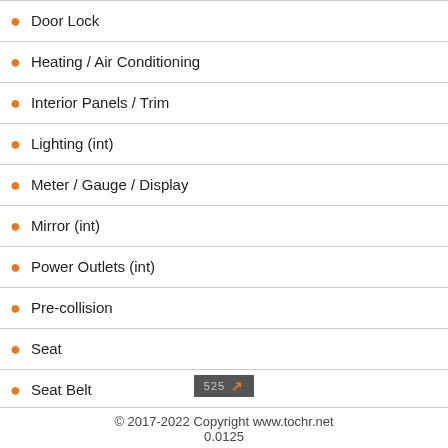Door Lock
Heating / Air Conditioning
Interior Panels / Trim
Lighting (int)
Meter / Gauge / Display
Mirror (int)
Power Outlets (int)
Pre-collision
Seat
Seat Belt
Supplemental Restraint Systems
Theft Deterrent / Keyless Entry
[Figure (other): Badge/button with text '525' and an orange arrow icon]
© 2017-2022 Copyright www.tochr.net
0.0125